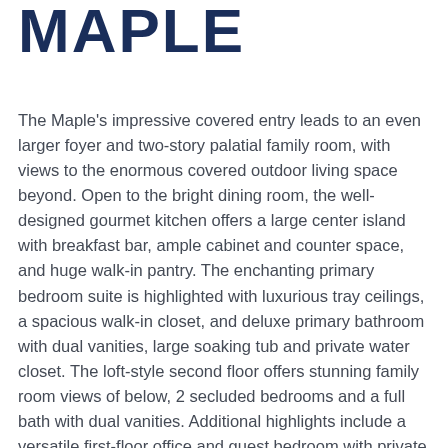MAPLE
The Maple's impressive covered entry leads to an even larger foyer and two-story palatial family room, with views to the enormous covered outdoor living space beyond. Open to the bright dining room, the well-designed gourmet kitchen offers a large center island with breakfast bar, ample cabinet and counter space, and huge walk-in pantry. The enchanting primary bedroom suite is highlighted with luxurious tray ceilings, a spacious walk-in closet, and deluxe primary bathroom with dual vanities, large soaking tub and private water closet. The loft-style second floor offers stunning family room views of below, 2 secluded bedrooms and a full bath with dual vanities. Additional highlights include a versatile first-floor office and guest bedroom with private bathroom adjacent to the foyer, and centrally-located laundry